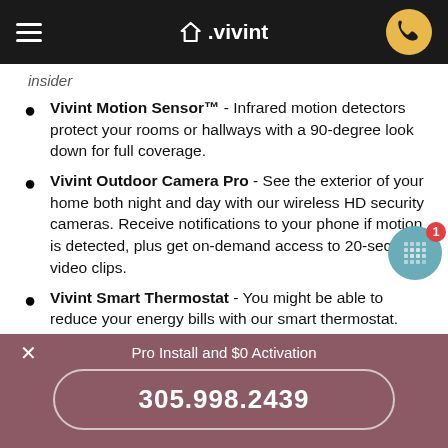vivint
insider
Vivint Motion Sensor™ - Infrared motion detectors protect your rooms or hallways with a 90-degree look down for full coverage.
Vivint Outdoor Camera Pro - See the exterior of your home both night and day with our wireless HD security cameras. Receive notifications to your phone if motion is detected, plus get on-demand access to 20-second video clips.
Vivint Smart Thermostat - You might be able to reduce your energy bills with our smart thermostat. The Vivint Smart Thermostat.
Pro Install and $0 Activation
305.998.2439